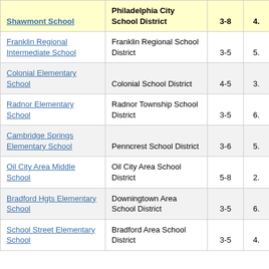| Shawmont School | Philadelphia City School District | 3-8 | 4. |
| --- | --- | --- | --- |
| Franklin Regional Intermediate School | Franklin Regional School District | 3-5 | 5. |
| Colonial Elementary School | Colonial School District | 4-5 | 3. |
| Radnor Elementary School | Radnor Township School District | 3-5 | 6. |
| Cambridge Springs Elementary School | Penncrest School District | 3-6 | 5. |
| Oil City Area Middle School | Oil City Area School District | 5-8 | 2. |
| Bradford Hgts Elementary School | Downingtown Area School District | 3-5 | 6. |
| School Street Elementary School | Bradford Area School District | 3-5 | 4. |